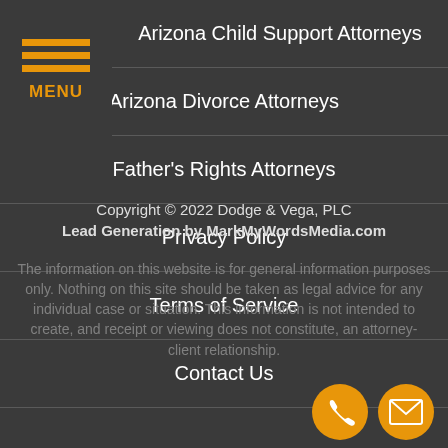[Figure (other): Hamburger menu icon with three orange horizontal lines and MENU label]
Arizona Child Support Attorneys
Arizona Divorce Attorneys
Father's Rights Attorneys
Privacy Policy
Terms of Service
Contact Us
Copyright © 2022 Dodge & Vega, PLC
Lead Generation by MarkMyWordsMedia.com
The information on this website is for general information purposes only. Nothing on this site should be taken as legal advice for any individual case or situation. This information is not intended to create, and receipt or viewing does not constitute, an attorney-client relationship.
[Figure (other): Phone icon in orange circle]
[Figure (other): Email envelope icon in orange circle]